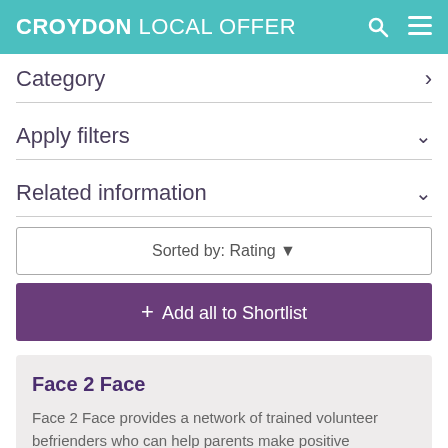CROYDON LOCAL OFFER
Category
Apply filters
Related information
Sorted by: Rating
+ Add all to Shortlist
Face 2 Face
Face 2 Face provides a network of trained volunteer befrienders who can help parents make positive adjustments to the news that their child